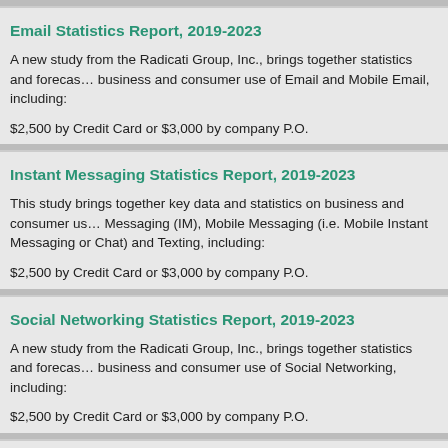Email Statistics Report, 2019-2023
A new study from the Radicati Group, Inc., brings together statistics and forecasts on business and consumer use of Email and Mobile Email, including:
$2,500 by Credit Card or $3,000 by company P.O.
Instant Messaging Statistics Report, 2019-2023
This study brings together key data and statistics on business and consumer use of Instant Messaging (IM), Mobile Messaging (i.e. Mobile Instant Messaging or Chat) and Texting, including:
$2,500 by Credit Card or $3,000 by company P.O.
Social Networking Statistics Report, 2019-2023
A new study from the Radicati Group, Inc., brings together statistics and forecasts on business and consumer use of Social Networking, including:
$2,500 by Credit Card or $3,000 by company P.O.
Mobile Statistics Report, 2019-2023
This study brings together key data and four-year growth forecasts on business and consumer Mobile Users, Mobile Devices, Mobile Operating Systems, Mobile E...